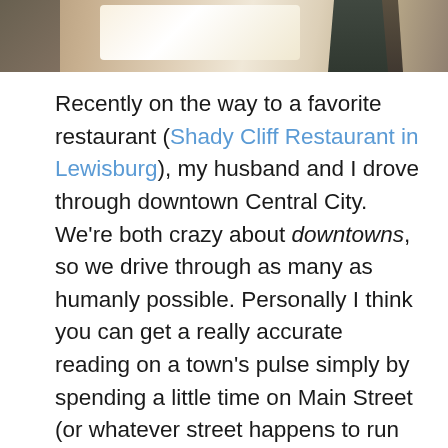[Figure (photo): Partial photo at top of page showing an outdoor scene with bright sunlight, a sidewalk or path, and dark silhouetted figures on the right side.]
Recently on the way to a favorite restaurant (Shady Cliff Restaurant in Lewisburg), my husband and I drove through downtown Central City. We're both crazy about downtowns, so we drive through as many as humanly possible. Personally I think you can get a really accurate reading on a town's pulse simply by spending a little time on Main Street (or whatever street happens to run through downtown).